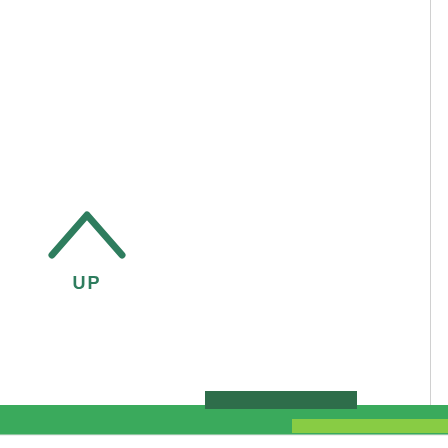[Figure (screenshot): UP navigation arrow icon pointing upward in green]
UP
[Figure (photo): Aquatoria office complex photo showing waterfront buildings]
Aquatoria
Sale
Belomorskaya
[Figure (photo): Tatarskaya 4 office building photo (partial)]
Tatarskaya 4
Rent
Pavelet...
Home - Offices in Moscow - Pokrovka ul., 45 str. 1